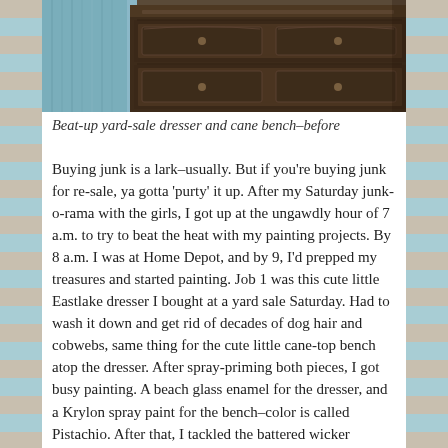[Figure (photo): A beat-up yard-sale wooden dresser with carved details, partially visible with a light blue blanket/cloth item on the left side. The dresser appears dark brown/walnut colored.]
Beat-up yard-sale dresser and cane bench–before
Buying junk is a lark–usually. But if you're buying junk for re-sale, ya gotta 'purty' it up. After my Saturday junk-o-rama with the girls, I got up at the ungawdly hour of 7 a.m. to try to beat the heat with my painting projects. By 8 a.m. I was at Home Depot, and by 9, I'd prepped my treasures and started painting. Job 1 was this cute little Eastlake dresser I bought at a yard sale Saturday. Had to wash it down and get rid of decades of dog hair and cobwebs, same thing for the cute little cane-top bench atop the dresser. After spray-priming both pieces, I got busy painting. A beach glass enamel for the dresser, and a Krylon spray paint for the bench–color is called Pistachio. After that, I tackled the battered wicker